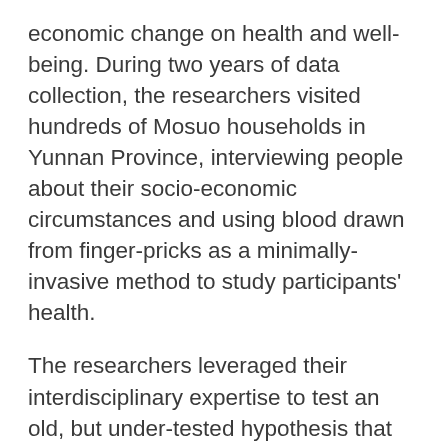economic change on health and well-being. During two years of data collection, the researchers visited hundreds of Mosuo households in Yunnan Province, interviewing people about their socio-economic circumstances and using blood drawn from finger-pricks as a minimally-invasive method to study participants' health.
The researchers leveraged their interdisciplinary expertise to test an old, but under-tested hypothesis that women experience improved health in cultures where they enjoy higher status and empowerment. When the research team, including first author Reynolds, a graduate student of the University of New Mexico's